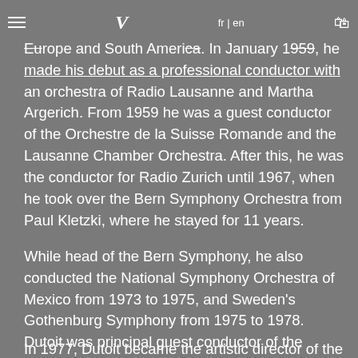fr | en
Europe and South America. In January 1959, he made his debut as a professional conductor with an orchestra of Radio Lausanne and Martha Argerich. From 1959 he was a guest conductor of the Orchestre de la Suisse Romande and the Lausanne Chamber Orchestra. After this, he was the conductor for Radio Zurich until 1967, when he took over the Bern Symphony Orchestra from Paul Kletzki, where he stayed for 11 years.
While head of the Bern Symphony, he also conducted the National Symphony Orchestra of Mexico from 1973 to 1975, and Sweden's Gothenburg Symphony from 1975 to 1978. Dutoit was principal guest conductor of the Minnesota Orchestra in the early 1980s.
In 1977, Dutoit became the artistic director of the Orchestre Symphonique de Montréal (OSM)...